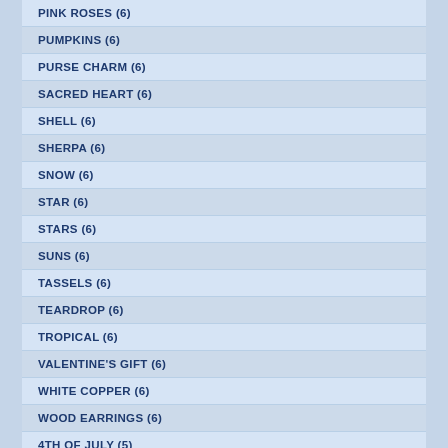PINK ROSES (6)
PUMPKINS (6)
PURSE CHARM (6)
SACRED HEART (6)
SHELL (6)
SHERPA (6)
SNOW (6)
STAR (6)
STARS (6)
SUNS (6)
TASSELS (6)
TEARDROP (6)
TROPICAL (6)
VALENTINE'S GIFT (6)
WHITE COPPER (6)
WOOD EARRINGS (6)
4TH OF JULY (5)
ARTIST (5)